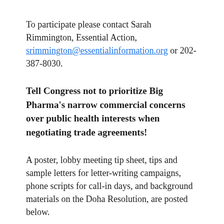To participate please contact Sarah Rimmington, Essential Action, srimmington@essentialinformation.org or 202-387-8030.
Tell Congress not to prioritize Big Pharma's narrow commercial concerns over public health interests when negotiating trade agreements!
A poster, lobby meeting tip sheet, tips and sample letters for letter-writing campaigns, phone scripts for call-in days, and background materials on the Doha Resolution, are posted below.